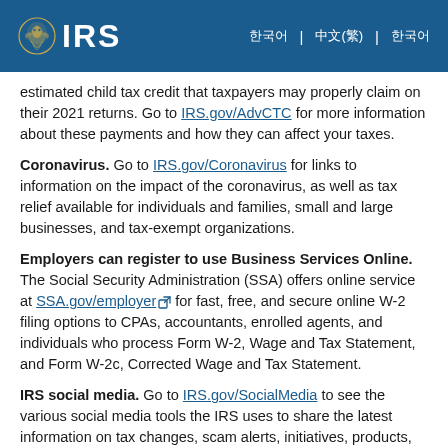IRS logo and navigation header
estimated child tax credit that taxpayers may properly claim on their 2021 returns. Go to IRS.gov/AdvCTC for more information about these payments and how they can affect your taxes.
Coronavirus. Go to IRS.gov/Coronavirus for links to information on the impact of the coronavirus, as well as tax relief available for individuals and families, small and large businesses, and tax-exempt organizations.
Employers can register to use Business Services Online. The Social Security Administration (SSA) offers online service at SSA.gov/employer for fast, free, and secure online W-2 filing options to CPAs, accountants, enrolled agents, and individuals who process Form W-2, Wage and Tax Statement, and Form W-2c, Corrected Wage and Tax Statement.
IRS social media. Go to IRS.gov/SocialMedia to see the various social media tools the IRS uses to share the latest information on tax changes, scam alerts, initiatives, products, and services. At the IRS, privacy and security are